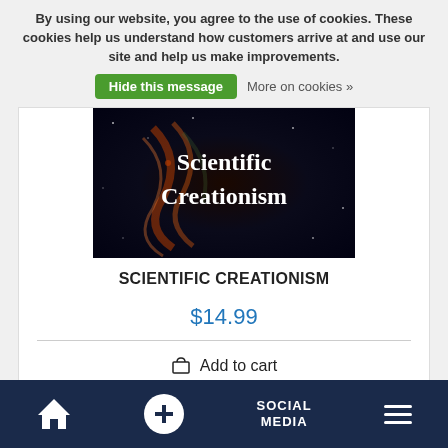By using our website, you agree to the use of cookies. These cookies help us understand how customers arrive at and use our site and help us make improvements.
Hide this message   More on cookies »
[Figure (illustration): Book cover for 'Scientific Creationism' showing space/nebula background with white text]
SCIENTIFIC CREATIONISM
$14.99
Add to cart
[Figure (illustration): Second product card stub with 'N SALE' ribbon in dark navy blue in the top-left corner]
Home  +  SOCIAL MEDIA  Menu